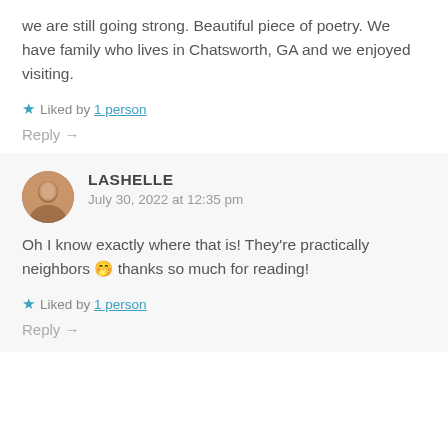we are still going strong. Beautiful piece of poetry. We have family who lives in Chatsworth, GA and we enjoyed visiting.
Liked by 1 person
Reply →
LASHELLE
July 30, 2022 at 12:35 pm
Oh I know exactly where that is! They're practically neighbors 🤭 thanks so much for reading!
Liked by 1 person
Reply →